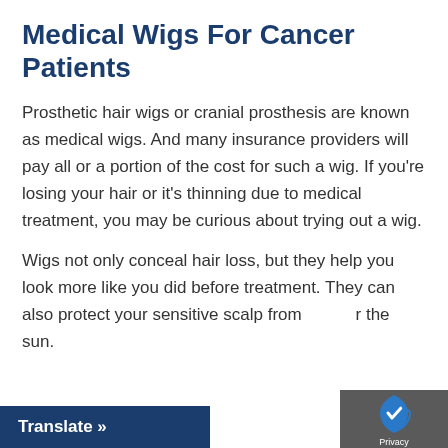Medical Wigs For Cancer Patients
Prosthetic hair wigs or cranial prosthesis are known as medical wigs. And many insurance providers will pay all or a portion of the cost for such a wig. If you're losing your hair or it's thinning due to medical treatment, you may be curious about trying out a wig.
Wigs not only conceal hair loss, but they help you look more like you did before treatment. They can also protect your sensitive scalp from [cold in]r the sun.
Translate »